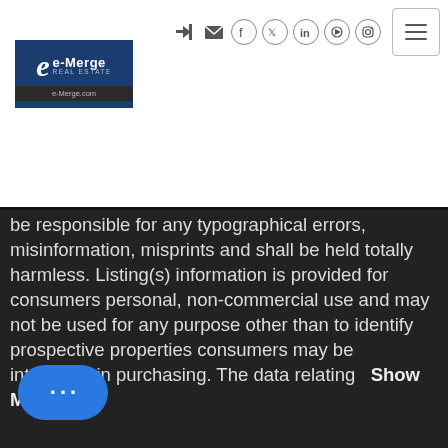[Figure (logo): e-Merge Real Estate logo with blue background, 'e' in italic and 'e-Merge' text, 'REAL ESTATE' subtitle, and 'e-Merge.com' URL bar below]
[Figure (infographic): Social media and navigation icons: login arrow, email, Facebook, Twitter, LinkedIn, YouTube, Instagram circles, and hamburger menu button]
be responsible for any typographical errors, misinformation, misprints and shall be held totally harmless. Listing(s) information is provided for consumers personal, non-commercial use and may not be used for any purpose other than to identify prospective properties consumers may be interested in purchasing. The data relating   Show More...
[Figure (logo): ACBOR Athens County Board of REALTORS logo with city skyline silhouette in black and white]
All listing information is
provided exclusively for consumers' personal, non-commercial use and may not be used for any purpose other than to identify prospective properties consumers may be interested in purchasing